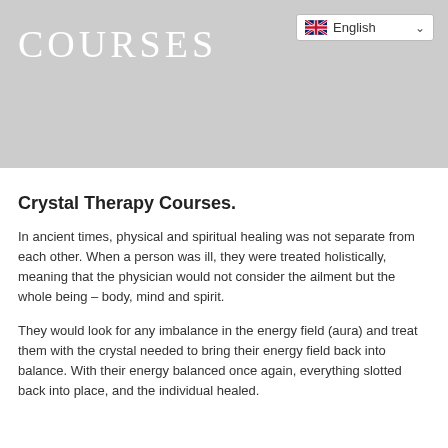[Figure (other): Gray banner header background with COURSES text and English language selector]
COURSES
Crystal Therapy Courses.
In ancient times, physical and spiritual healing was not separate from each other. When a person was ill, they were treated holistically, meaning that the physician would not consider the ailment but the whole being – body, mind and spirit.
They would look for any imbalance in the energy field (aura) and treat them with the crystal needed to bring their energy field back into balance. With their energy balanced once again, everything slotted back into place, and the individual healed.